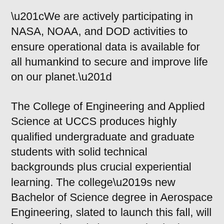“We are actively participating in NASA, NOAA, and DOD activities to ensure operational data is available for all humankind to secure and improve life on our planet.”
The College of Engineering and Applied Science at UCCS produces highly qualified undergraduate and graduate students with solid technical backgrounds plus crucial experiential learning. The college’s new Bachelor of Science degree in Aerospace Engineering, slated to launch this fall, will leverage the existing expertise in the Department of Mechanical and Aerospace Engineering. “The college will break ground on a new facility, the Anschutz Engineering Center, this summer to stand up the program,” says Sue McClernan, the college’s career and industry outreach program director. “Student and workforce